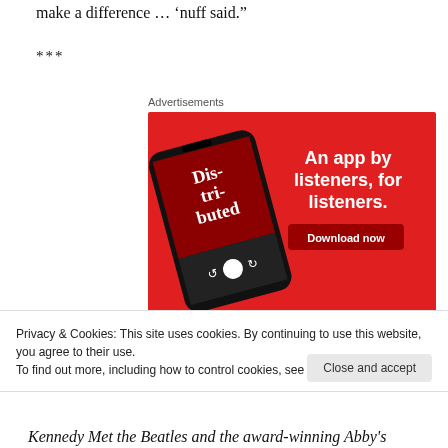make a difference … 'nuff said."
***
Advertisements
[Figure (screenshot): Red advertisement banner for a podcast app showing a smartphone with 'Distributed' podcast and text 'An app by listeners, for listeners.' with a 'Download now' button]
Privacy & Cookies: This site uses cookies. By continuing to use this website, you agree to their use.
To find out more, including how to control cookies, see here: Cookie Policy
Close and accept
Kennedy Met the Beatles and the award-winning Abby's